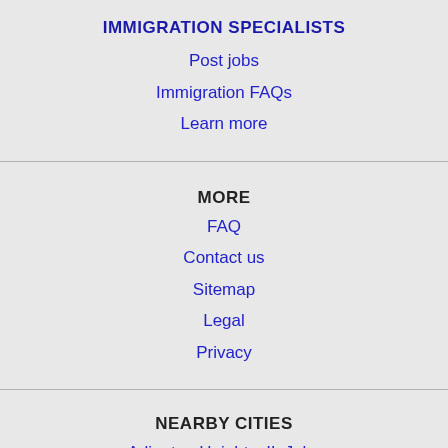IMMIGRATION SPECIALISTS
Post jobs
Immigration FAQs
Learn more
MORE
FAQ
Contact us
Sitemap
Legal
Privacy
NEARBY CITIES
Arlington Heights, IL Jobs
Battle Creek, MI Jobs
Berwyn, IL Jobs